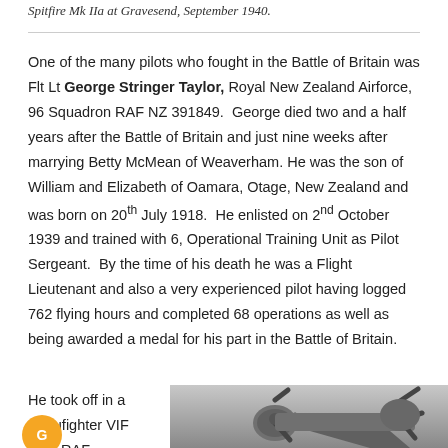Spitfire Mk IIa at Gravesend, September 1940.
One of the many pilots who fought in the Battle of Britain was Flt Lt George Stringer Taylor, Royal New Zealand Airforce, 96 Squadron RAF NZ 391849. George died two and a half years after the Battle of Britain and just nine weeks after marrying Betty McMean of Weaverham. He was the son of William and Elizabeth of Oamara, Otage, New Zealand and was born on 20th July 1918. He enlisted on 2nd October 1939 and trained with 6, Operational Training Unit as Pilot Sergeant. By the time of his death he was a Flight Lieutenant and also a very experienced pilot having logged 762 flying hours and completed 68 operations as well as being awarded a medal for his part in the Battle of Britain.
He took off in a Beaufighter VIF from RAF
[Figure (photo): Black and white photograph of a Beaufighter aircraft, showing the front nose and propeller from a low angle.]